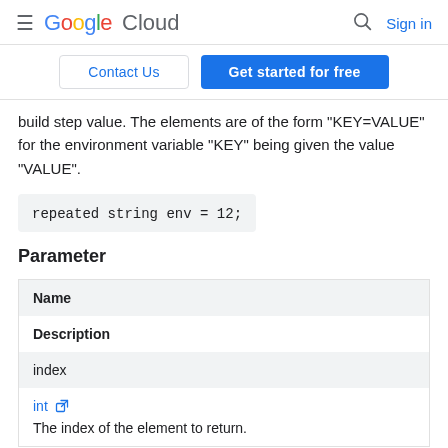Google Cloud | Search | Sign in
Contact Us | Get started for free
build step value. The elements are of the form "KEY=VALUE" for the environment variable "KEY" being given the value "VALUE".
Parameter
| Name | Description |
| --- | --- |
| index | int
The index of the element to return. |